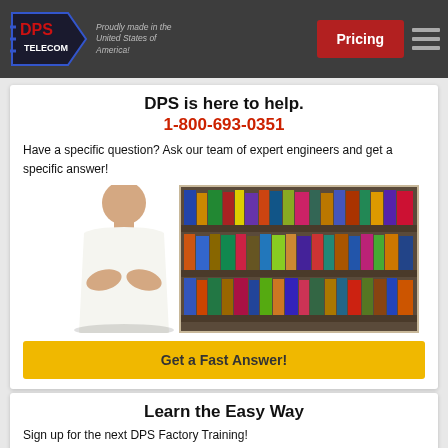DPS Telecom — Proudly made in the United States of America! | Pricing
DPS is here to help.
1-800-693-0351
Have a specific question? Ask our team of expert engineers and get a specific answer!
[Figure (photo): Engineer in white shirt with arms crossed, standing in front of a bookshelf filled with books]
Get a Fast Answer!
Learn the Easy Way
Sign up for the next DPS Factory Training!